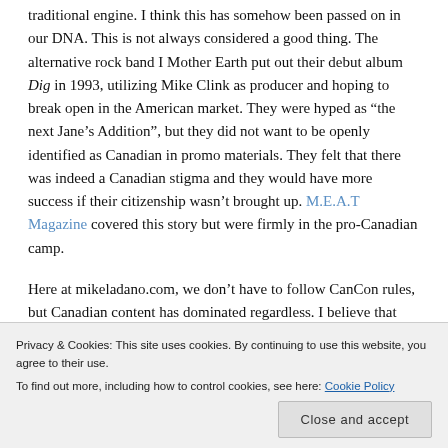traditional engine. I think this has somehow been passed on in our DNA. This is not always considered a good thing. The alternative rock band I Mother Earth put out their debut album Dig in 1993, utilizing Mike Clink as producer and hoping to break open in the American market. They were hyped as "the next Jane's Addition", but they did not want to be openly identified as Canadian in promo materials. They felt that there was indeed a Canadian stigma and they would have more success if their citizenship wasn't brought up. M.E.A.T Magazine covered this story but were firmly in the pro-Canadian camp.
Here at mikeladano.com, we don't have to follow CanCon rules, but Canadian content has dominated regardless. I believe that our music is strong enough to stand proudly on its own. We have so much talent in this country. So many incredible songs have emerged from...
Privacy & Cookies: This site uses cookies. By continuing to use this website, you agree to their use.
To find out more, including how to control cookies, see here: Cookie Policy
Close and accept